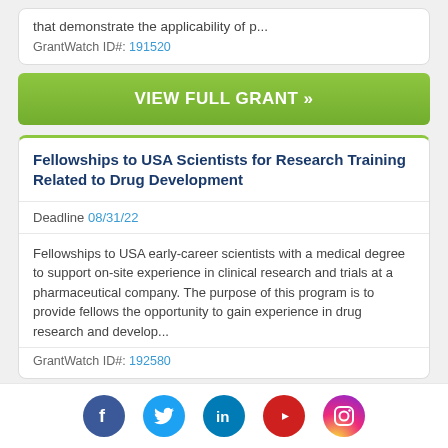that demonstrate the applicability of p...
GrantWatch ID#: 191520
VIEW FULL GRANT »
Fellowships to USA Scientists for Research Training Related to Drug Development
Deadline 08/31/22
Fellowships to USA early-career scientists with a medical degree to support on-site experience in clinical research and trials at a pharmaceutical company. The purpose of this program is to provide fellows the opportunity to gain experience in drug research and develop...
GrantWatch ID#: 192580
Social media icons: Facebook, Twitter, LinkedIn, YouTube, Instagram